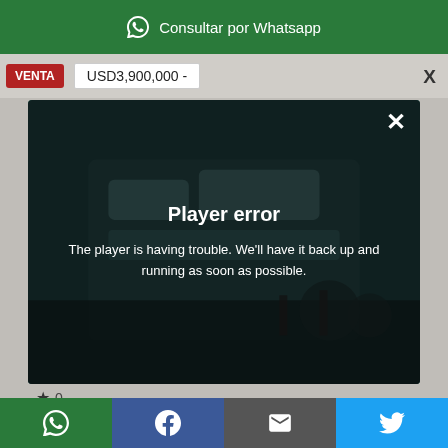Consultar por Whatsapp
VENTA   USD3,900,000 -
[Figure (screenshot): Real estate listing page showing a luxury modern building exterior photo with a video player error modal overlay. The modal displays 'Player error' title and message 'The player is having trouble. We'll have it back up and running as soon as possible.' with a close X button. Below the image area shows a star rating of 0 and 'Detalles del Inmueble' section header.]
WhatsApp | Facebook | Email | Twitter